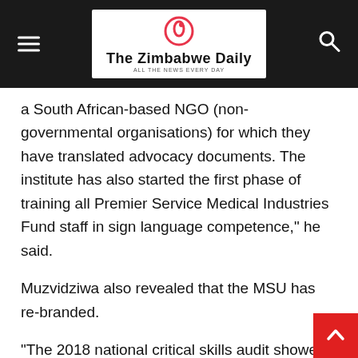The Zimbabwe Daily
a South African-based NGO (non-governmental organisations) for which they have translated advocacy documents. The institute has also started the first phase of training all Premier Service Medical Industries Fund staff in sign language competence,” he said.
Muzvidziwa also revealed that the MSU has re-branded.
“The 2018 national critical skills audit showed that we had a critical skills deficit in engineering and technology, natural and applied sciences, agriculture, medical and health sciences,” Muzvidziwa said .
“We are immensely proud of the university’s response to the skills audit through curriculum renewal. The university has